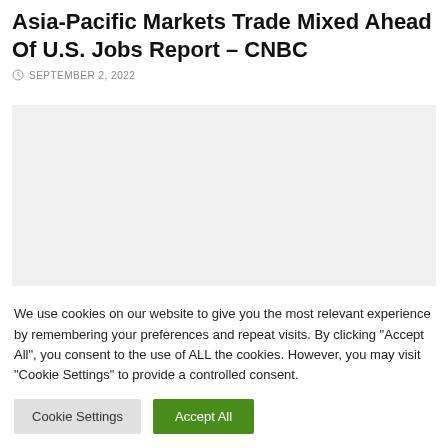Asia-Pacific Markets Trade Mixed Ahead Of U.S. Jobs Report – CNBC
SEPTEMBER 2, 2022
[Figure (photo): Empty light gray placeholder image block for a news article image]
We use cookies on our website to give you the most relevant experience by remembering your preferences and repeat visits. By clicking "Accept All", you consent to the use of ALL the cookies. However, you may visit "Cookie Settings" to provide a controlled consent.